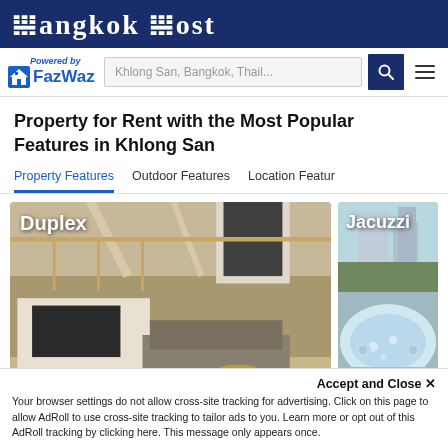Bangkok Post
[Figure (logo): FazWaz logo with house icon and 'Powered by' text above, search bar with 'Khlong San, Bangkok, Thail...' placeholder, search button, and hamburger menu]
Property for Rent with the Most Popular Features in Khlong San
Property Features | Outdoor Features | Location Featur
[Figure (photo): Duplex property interior photo showing a modern living room with high ceilings, TV unit, sofa, and mezzanine level. Label: Duplex. Link: View More >]
[Figure (photo): Jacuzzi property photo showing an outdoor rooftop jacuzzi with city view. Label: Jacuzzi. Link: View More >]
Accept and Close ✕
Your browser settings do not allow cross-site tracking for advertising. Click on this page to allow AdRoll to use cross-site tracking to tailor ads to you. Learn more or opt out of this AdRoll tracking by clicking here. This message only appears once.